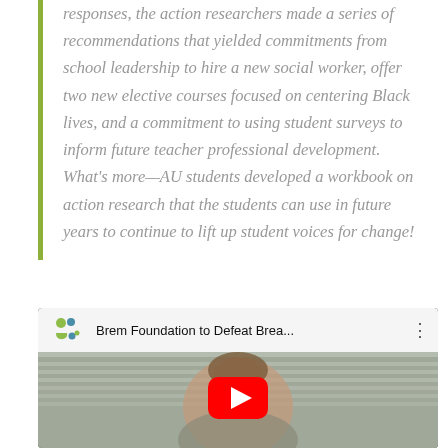responses, the action researchers made a series of recommendations that yielded commitments from school leadership to hire a new social worker, offer two new elective courses focused on centering Black lives, and a commitment to using student surveys to inform future teacher professional development. What's more—AU students developed a workbook on action research that the students can use in future years to continue to lift up student voices for change!
[Figure (screenshot): YouTube video embed showing 'Brem Foundation to Defeat Brea...' with a YouTube logo, video title, three-dot menu, and a thumbnail of a woman's face with a red YouTube play button overlay.]